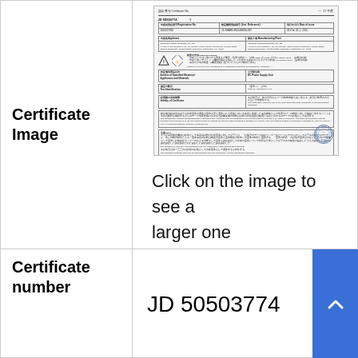Certificate Image
[Figure (other): Scanned Japanese certification document (PSE certificate) with certificate number JD 50503774, applicant Shenzhen Fudeng Technology Co., Ltd, hazard symbols, authority stamp, and signatures.]
Click on the image to see a larger one
Certificate number
JD 50503774